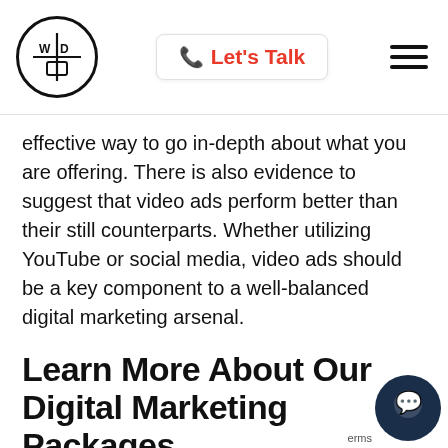[Figure (logo): Circular logo with W and D letters in quadrants, black circle border]
Let's Talk
effective way to go in-depth about what you are offering. There is also evidence to suggest that video ads perform better than their still counterparts. Whether utilizing YouTube or social media, video ads should be a key component to a well-balanced digital marketing arsenal.
Learn More About Our Digital Marketing Packages
To compete in the online space, you need a multi-faceting digital marketing approach. By off- web design, SEO, social media strategy, and more,